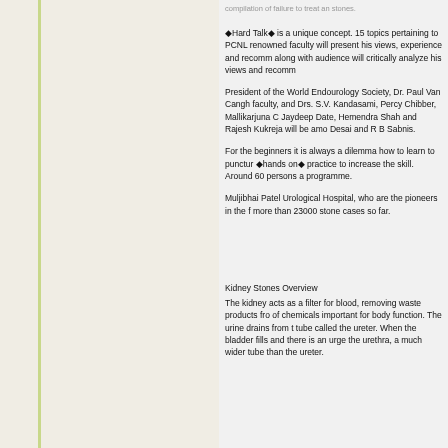�Hard Talkï is a unique concept. 15 topics pertaining to PCNL renowned faculty will present his views, experience and recommendations along with audience will critically analyze his views and recommendations
President of the World Endourology Society, Dr. Paul Van Cangh faculty, and Drs. S.V. Kandasami, Percy Chibber, Mallikarjuna C Jaydeep Date, Hemendra Shah and Rajesh Kukreja will be among Desai and R B Sabnis.
For the beginners it is always a dilemma how to learn to puncture. ïhands onï practice to increase the skill. Around 60 persons are programme.
Muljibhai Patel Urological Hospital, who are the pioneers in the field more than 23000 stone cases so far.
Kidney Stones Overview
The kidney acts as a filter for blood, removing waste products from of chemicals important for body function. The urine drains from the tube called the ureter. When the bladder fills and there is an urge the urethra, a much wider tube than the ureter.